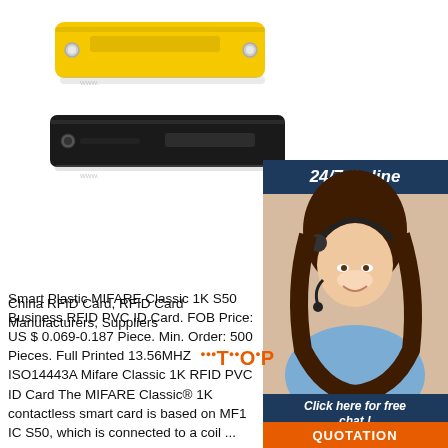[Figure (photo): Yellow RFID tag with mounting holes on white background, above a black RFID tag with mounting hole]
[Figure (photo): Customer service agent with headset, smiling, with '24/7 Online' banner in dark blue and 'Click here for free chat!' button, plus orange QUOTATION button]
China RFID Card, RFID Card Manufacturers, Suppliers
Smart Plastic MIFARE Classic 1K S50 Business RFID PVC ID Card. FOB Price: US $ 0.069-0.187 Piece. Min. Order: 500 Pieces. Full Printed 13.56MHZ ISO14443A Mifare Classic 1K RFID PVC ID Card The MIFARE Classic® 1K contactless smart card is based on MF1 IC S50, which is connected to a coil ...